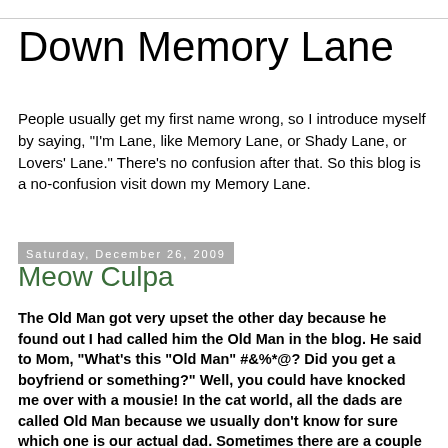Down Memory Lane
People usually get my first name wrong, so I introduce myself by saying, "I'm Lane, like Memory Lane, or Shady Lane, or Lovers' Lane." There's no confusion after that. So this blog is a no-confusion visit down my Memory Lane.
Saturday, December 26, 2009
Meow Culpa
The Old Man got very upset the other day because he found out I had called him the Old Man in the blog. He said to Mom, "What's this "Old Man" #&%*@? Did you get a boyfriend or something?" Well, you could have knocked me over with a mousie! In the cat world, all the dads are called Old Man because we usually don't know for sure which one is our actual dad. Sometimes there are a couple of dads for the same litter; it can get confusing. To cats, Old Man is a title of respect and a certain amount of fear. They are fearsome creatures, scarred